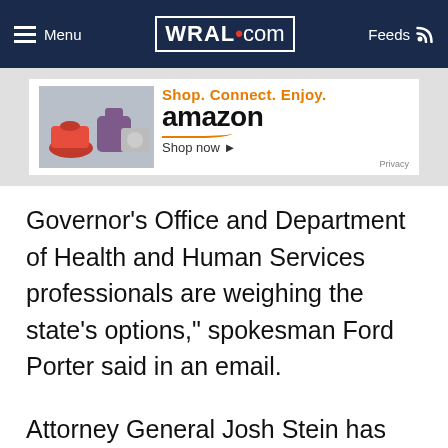Menu | WRAL.com | Feeds
[Figure (screenshot): Amazon advertisement banner: Shop. Connect. Enjoy. amazon Shop now. Privacy.]
Governor's Office and Department of Health and Human Services professionals are weighing the state's options," spokesman Ford Porter said in an email.
Attorney General Josh Stein has sued Juul Labs and other e-cigarette makers in recent months, alleging they illegally market their products to youths. He said he was troubled to learn of a possible death in North Carolina